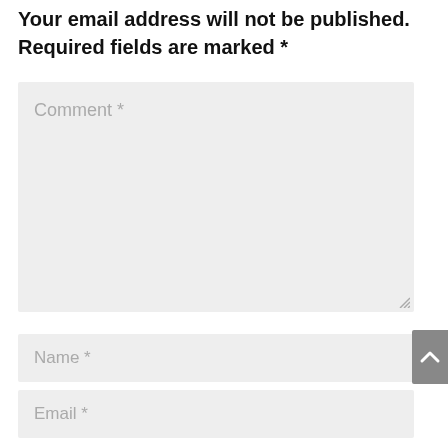Your email address will not be published. Required fields are marked *
[Figure (screenshot): Comment text area input field with placeholder text 'Comment *' and resize handle at bottom right]
[Figure (screenshot): Name input field with placeholder text 'Name *']
[Figure (screenshot): Email input field with placeholder text 'Email *']
[Figure (screenshot): Website input field with placeholder text 'Website']
[Figure (screenshot): Gray scroll-to-top button with white chevron arrow on right edge]